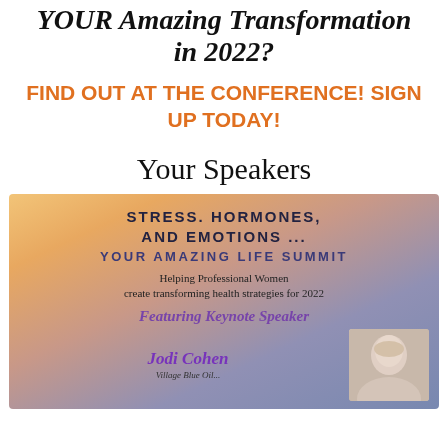YOUR Amazing Transformation in 2022?
FIND OUT AT THE CONFERENCE!  SIGN UP TODAY!
Your Speakers
[Figure (infographic): Conference banner for 'Your Amazing Life Summit' featuring Stress, Hormones, and Emotions theme, with keynote speaker Jodi Cohen and a photo of a blonde woman, set against a mountain sunset background.]